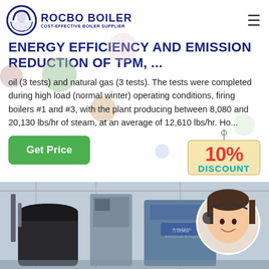ROCBO BOILER — COST-EFFECTIVE BOILER SUPPLIER
ENERGY EFFICIENCY AND EMISSION REDUCTION OF TPM, ...
oil (3 tests) and natural gas (3 tests). The tests were completed during high load (normal winter) operating conditions, firing boilers #1 and #3, with the plant producing between 8,080 and 20,130 lbs/hr of steam, at an average of 12,610 lbs/hr. Ho...
[Figure (other): 10% DISCOUNT promotional badge]
[Figure (photo): Industrial boiler equipment in a factory setting with a customer support representative overlay circle on the right]
Get Price (button)